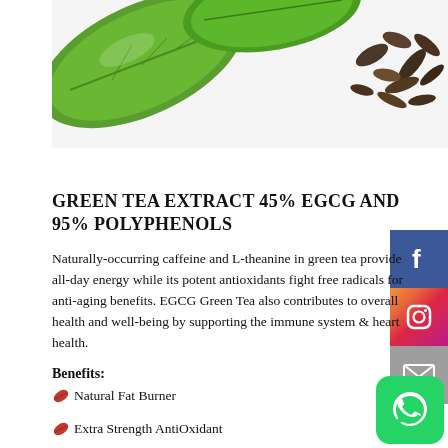[Figure (photo): Green tea leaves and dried tea leaves on white background]
GREEN TEA EXTRACT 45% EGCG AND 95% POLYPHENOLS
Naturally-occurring caffeine and L-theanine in green tea provide all-day energy while its potent antioxidants fight free radicals for anti-aging benefits. EGCG Green Tea also contributes to overall health and well-being by supporting the immune system & heart health.
Benefits:
Natural Fat Burner
Extra Strength AntiOxidant
Support Skin elasticity and may help to slow the aging process.